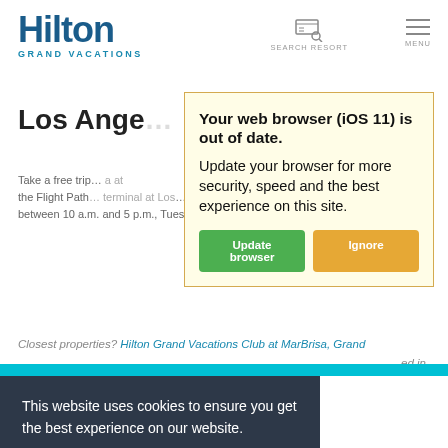[Figure (logo): Hilton Grand Vacations logo — blue text]
SEARCH RESORT   MENU
Los Ange…
Take a free trip… a at the Flight Path… terminal at Los… free between 10 a.m. and 5 p.m., Tuesday through Saturday.
[Figure (screenshot): Browser out-of-date warning overlay: 'Your web browser (iOS 11) is out of date. Update your browser for more security, speed and the best experience on this site.' with 'Update browser' (green) and 'Ignore' (orange) buttons]
Closest properties? Hilton Grand Vacations Club at MarBrisa, Grand … ed in
This website uses cookies to ensure you get the best experience on our website. Learn More
x
FOLLOW US